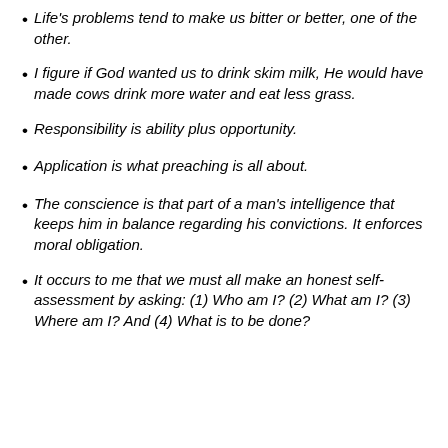Life’s problems tend to make us bitter or better, one of the other.
I figure if God wanted us to drink skim milk, He would have made cows drink more water and eat less grass.
Responsibility is ability plus opportunity.
Application is what preaching is all about.
The conscience is that part of a man’s intelligence that keeps him in balance regarding his convictions. It enforces moral obligation.
It occurs to me that we must all make an honest self-assessment by asking: (1) Who am I? (2) What am I? (3) Where am I? And (4) What is to be done?